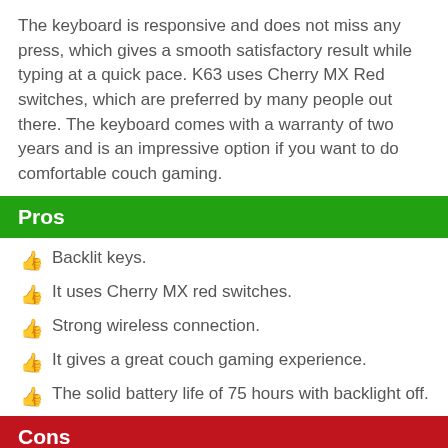The keyboard is responsive and does not miss any press, which gives a smooth satisfactory result while typing at a quick pace. K63 uses Cherry MX Red switches, which are preferred by many people out there. The keyboard comes with a warranty of two years and is an impressive option if you want to do comfortable couch gaming.
Pros
Backlit keys.
It uses Cherry MX red switches.
Strong wireless connection.
It gives a great couch gaming experience.
The solid battery life of 75 hours with backlight off.
Cons
It does not have a storage place for the USB dongle.